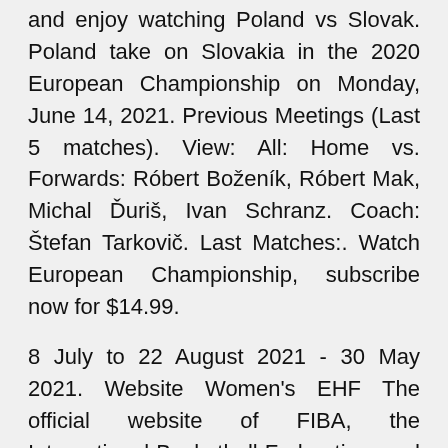and enjoy watching Poland vs Slovak. Poland take on Slovakia in the 2020 European Championship on Monday, June 14, 2021. Previous Meetings (Last 5 matches). View: All: Home vs. Forwards: Róbert Boženík, Róbert Mak, Michal Ďuriš, Ivan Schranz. Coach: Štefan Tarkovič. Last Matches:. Watch European Championship, subscribe now for $14.99.
8 July to 22 August 2021 - 30 May 2021. Website Women's EHF The official website of FIBA, the International Basketball Federation, and the governing body of Basketball. FIBA organises the most famous and prestigious international basketball competitions including the FIBA Basketball World Cup, the FIBA World Championship for Women and the FIBA 3×3 World Tour. The website features live and on demand videos, basketball news, over 70,00 players profile MSCTV.pl is